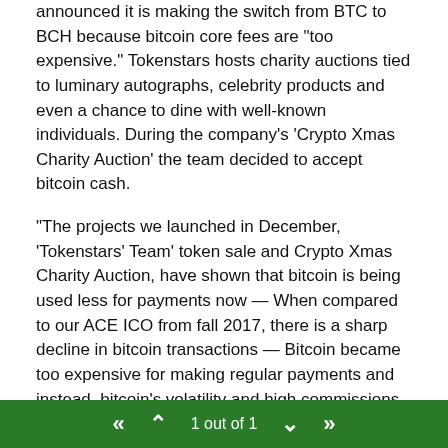announced it is making the switch from BTC to BCH because bitcoin core fees are "too expensive." Tokenstars hosts charity auctions tied to luminary autographs, celebrity products and even a chance to dine with well-known individuals. During the company's 'Crypto Xmas Charity Auction' the team decided to accept bitcoin cash.
“The projects we launched in December, ‘Tokenstars’ Team’ token sale and Crypto Xmas Charity Auction, have shown that bitcoin is being used less for payments now — When compared to our ACE ICO from fall 2017, there is a sharp decline in bitcoin transactions — Bitcoin became too expensive for making regular payments and instead, bitcoin’s volatility and high commissions turned it into an investment tool,” Tokenstars CEO, Pavel Stukolov explains to news.Bitcoin.com.
[Figure (other): Blockquote decoration with vertical bars and a dropdown UI element]
Bitcoin Cash: What’s In Store for the Next Six
1 out of 1